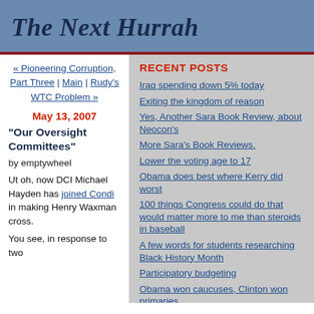The Next Hurrah
« Pioneering Corruption, Part Three | Main | Rudy's WTC Problem »
May 13, 2007
"Our Oversight Committees"
by emptywheel
Ut oh, now DCI Michael Hayden has joined Condi in making Henry Waxman cross.
You see, in response to two
RECENT POSTS
Iraq spending down 5% today
Exiting the kingdom of reason
Yes, Another Sara Book Review, about Neocon's
More Sara's Book Reviews.
Lower the voting age to 17
Obama does best where Kerry did worst
100 things Congress could do that would matter more to me than steroids in baseball
A few words for students researching Black History Month
Participatory budgeting
Obama won caucuses, Clinton won primaries
CONTRIBUTORS
DemFromCT